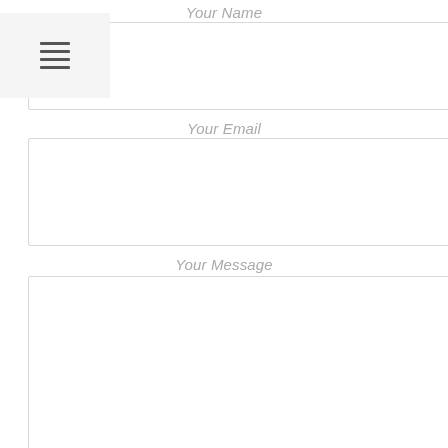[Figure (other): Hamburger menu icon button with three horizontal lines, light gray background]
Your Name
[Figure (other): Empty text input field box for name entry]
Your Email
[Figure (other): Empty text input field box for email entry]
Your Message
[Figure (other): Empty large textarea for message entry with resize handle in bottom right corner]